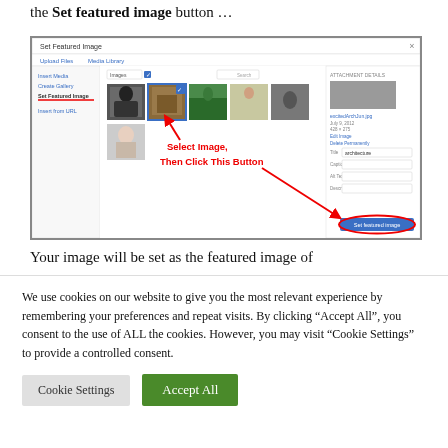the Set featured image button …
[Figure (screenshot): WordPress 'Set Featured Image' media dialog screenshot with red annotation arrows and text reading 'Select Image, Then Click This Button' pointing to the Set Featured Image button.]
Your image will be set as the featured image of
We use cookies on our website to give you the most relevant experience by remembering your preferences and repeat visits. By clicking "Accept All", you consent to the use of ALL the cookies. However, you may visit "Cookie Settings" to provide a controlled consent.
Cookie Settings
Accept All